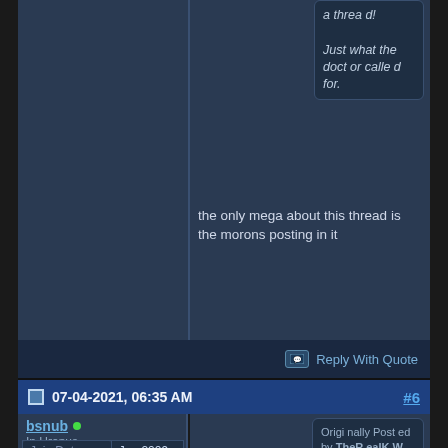a thread! Just what the doctor called for.
the only mega about this thread is the morons posting in it
Reply With Quote
07-04-2021, 06:35 AM  #6
bsnub • In Uranus
| Join Date: | Jun 2009 |
| --- | --- |
| Last Online: | @ |
Originally Posted by TheRealKW...